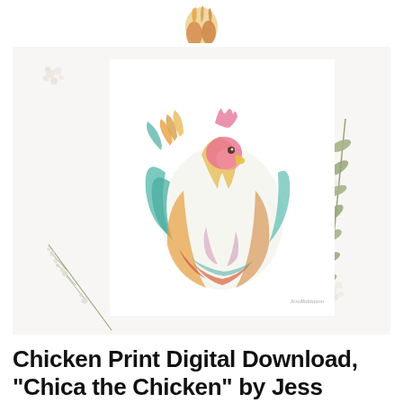[Figure (photo): Partially visible watercolor chicken painting at top of page (cropped, only bottom portion visible)]
[Figure (photo): Product photo of a watercolor art print called 'Chica the Chicken' displayed on a white background with scattered botanical elements (dried flowers, olive branch, herb sprigs). The painting shows a colorful chicken rendered in teal, orange, gold, red, and pink watercolors on a white paper, shown as a framed print resting on the styled surface.]
Chicken Print Digital Download, "Chica the Chicken" by Jess